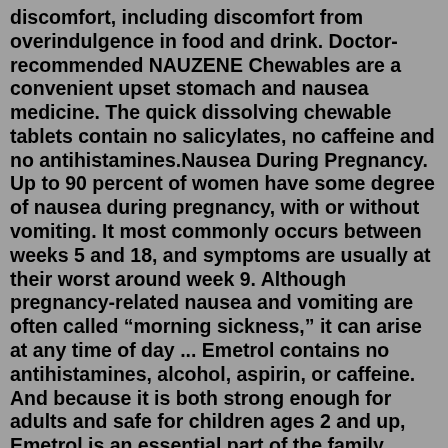discomfort, including discomfort from overindulgence in food and drink. Doctor-recommended NAUZENE Chewables are a convenient upset stomach and nausea medicine. The quick dissolving chewable tablets contain no salicylates, no caffeine and no antihistamines.Nausea During Pregnancy. Up to 90 percent of women have some degree of nausea during pregnancy, with or without vomiting. It most commonly occurs between weeks 5 and 18, and symptoms are usually at their worst around week 9. Although pregnancy-related nausea and vomiting are often called “morning sickness,” it can arise at any time of day ... Emetrol contains no antihistamines, alcohol, aspirin, or caffeine. And because it is both strong enough for adults and safe for children ages 2 and up, Emetrol is an essential part of the family medicine cabinet.Emetrol is the #1 pharmacist-recommended nausea remedy. sodium citrate, dextrose, and fructose (Nauzene) ...(Emetrol) bismuth subsalicylate (Pepto Bismol) Antiemetics during